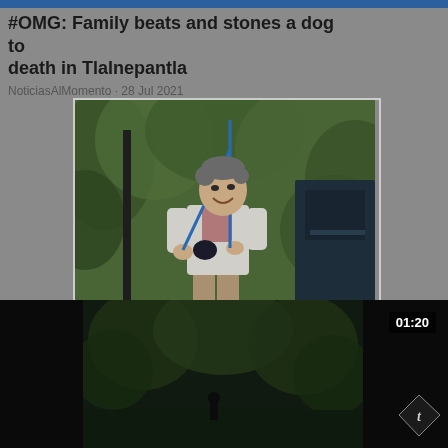#OMG: Family beats and stones a dog to death in Tlalnepantla
NoticiasAlMomento · 28 Jul 2021
[Figure (photo): Man smiling and holding a fishing rod near a truck, with green foliage in the background]
[Figure (screenshot): Video thumbnail showing dark scene with trees and a person in the distance, with 01:20 timestamp and channel logo overlay]